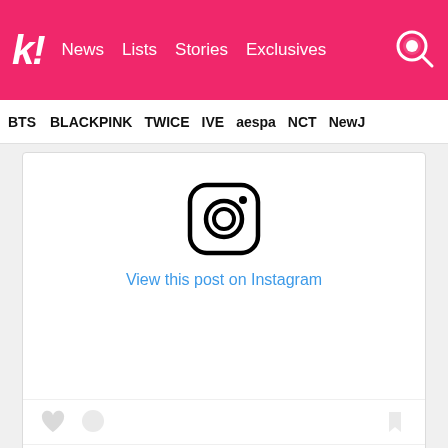k! News  Lists  Stories  Exclusives
BTS  BLACKPINK  TWICE  IVE  aespa  NCT  NewJ
[Figure (logo): Instagram camera icon logo in black outline style]
View this post on Instagram
나라와 사랑하는 팬들에게 tvN 드라마 <ᄋ ᄋᄋᄋᄋ>의 ᄋᄋᄋᄋ ᄋᄋᄋᄋᄋ. ᄋᄋᄋᄋᄋ ᄋᄋᄋ ᄋᄋᄋᄋᄋᄋᄋ ᄋᄋᄋᄋᄋ ᄋᄋᄋ ᄋᄋ ᄋᄋᄋᄋ ᄋᄋᄋᄋ ᄋᄋᄋᄋᄋ ᄋᄋ ᄋᄋᄋᄋᄋ. [ᄋ, ᄋ ᄋ 9ᄋ ᄋᄋᄋᄋ!]
A post shared by jinyoung_0922jy (@jinyoung_0922jy) ...